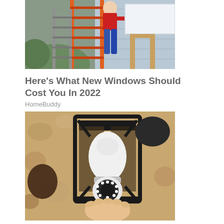[Figure (photo): Person on an orange ladder installing or working on windows on the exterior of a house with blue/gray siding]
Here’s What New Windows Should Cost You In 2022
HomeBuddy
[Figure (photo): A person installing a white security camera bulb into an outdoor lantern-style light fixture mounted on a textured stucco wall]
Homeowners Are Trading In Their Doorbell Cams For This